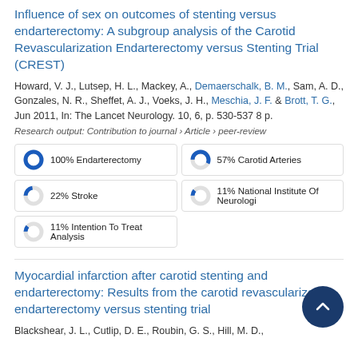Influence of sex on outcomes of stenting versus endarterectomy: A subgroup analysis of the Carotid Revascularization Endarterectomy versus Stenting Trial (CREST)
Howard, V. J., Lutsep, H. L., Mackey, A., Demaerschalk, B. M., Sam, A. D., Gonzales, N. R., Sheffet, A. J., Voeks, J. H., Meschia, J. F. & Brott, T. G., Jun 2011, In: The Lancet Neurology. 10, 6, p. 530-537 8 p.
Research output: Contribution to journal › Article › peer-review
[Figure (infographic): Five keyword boxes arranged in a 2-column grid with donut/pie indicators. 100% Endarterectomy, 57% Carotid Arteries, 22% Stroke, 11% National Institute Of Neurologi, 11% Intention To Treat Analysis]
Myocardial infarction after carotid stenting and endarterectomy: Results from the carotid revascularization endarterectomy versus stenting trial
Blackshear, J. L., Cutlip, D. E., Roubin, G. S., Hill, M. D.,